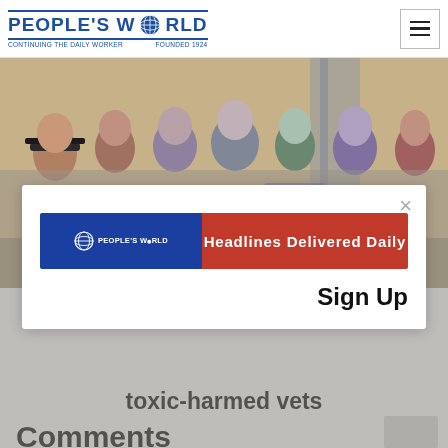PEOPLE'S WORLD — Continuing the Daily Worker — Founded 1924
[Figure (photo): Group of people gathered at what appears to be an official event, standing and speaking with each other in a formal room with American flags and gold curtains in the background.]
[Figure (infographic): People's World Headlines Delivered Daily newsletter signup modal with blue and red banner. Contains close button (×), the People's World logo on blue background, 'Headlines Delivered Daily' text on red background, and 'Sign Up' button text.]
toxic-harmed vets
Comments